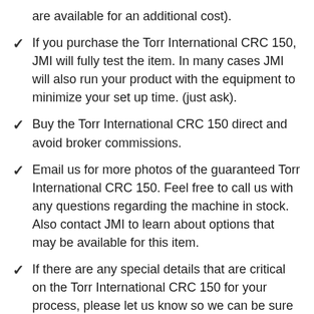are available for an additional cost).
If you purchase the Torr International CRC 150, JMI will fully test the item. In many cases JMI will also run your product with the equipment to minimize your set up time. (just ask).
Buy the Torr International CRC 150 direct and avoid broker commissions.
Email us for more photos of the guaranteed Torr International CRC 150. Feel free to call us with any questions regarding the machine in stock. Also contact JMI to learn about options that may be available for this item.
If there are any special details that are critical on the Torr International CRC 150 for your process, please let us know so we can be sure it meets your needs.